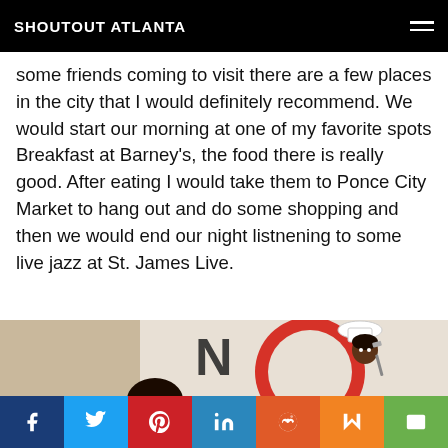SHOUTOUT ATLANTA
some friends coming to visit there are a few places in the city that I would definitely recommend. We would start our morning at one of my favorite spots Breakfast at Barney’s, the food there is really good. After eating I would take them to Ponce City Market to hang out and do some shopping and then we would end our night listnening to some live jazz at St. James Live.
[Figure (illustration): Illustration of a woman chef character with a chef hat holding a spatula, in front of a red circular logo with letters, on a beige/cream background. A circular scroll-to-top arrow button appears in the top-right of the image area.]